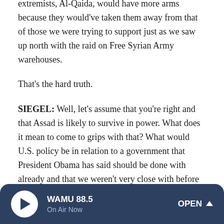extremists, Al-Qaida, would have more arms because they would've taken them away from that of those we were trying to support just as we saw up north with the raid on Free Syrian Army warehouses.
That's the hard truth.
SIEGEL: Well, let's assume that you're right and that Assad is likely to survive in power. What does it mean to come to grips with that? What would U.S. policy be in relation to a government that President Obama has said should be done with already and that we weren't very close with before all this fighting began?
CROCKER: You know, if you're going to set out a policy,
[Figure (other): WAMU 88.5 radio player bar with play button, station name, On Air Now label, and OPEN button]